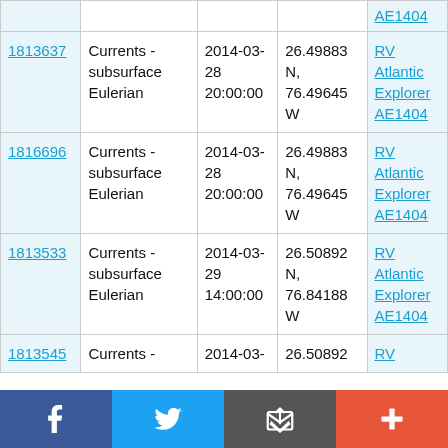| ID | Type | Date/Time | Location | Platform |
| --- | --- | --- | --- | --- |
|  |  |  |  | AE1404 |
| 1813637 | Currents - subsurface Eulerian | 2014-03-28 20:00:00 | 26.49883 N, 76.49645 W | RV Atlantic Explorer AE1404 |
| 1816696 | Currents - subsurface Eulerian | 2014-03-28 20:00:00 | 26.49883 N, 76.49645 W | RV Atlantic Explorer AE1404 |
| 1813533 | Currents - subsurface Eulerian | 2014-03-29 14:00:00 | 26.50892 N, 76.84188 W | RV Atlantic Explorer AE1404 |
| 1813545 | Currents - | 2014-03- | 26.50892 | RV |